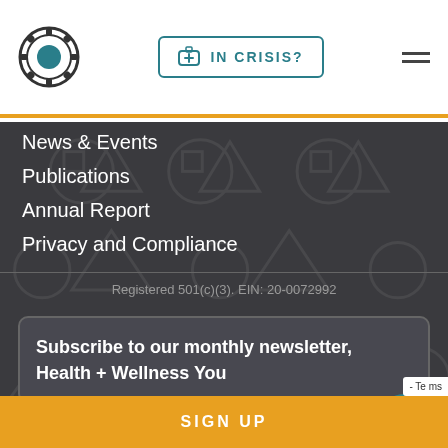IN CRISIS? [navigation header with logo and hamburger menu]
News & Events
Publications
Annual Report
Privacy and Compliance
Registered 501(c)(3). EIN: 20-0072992
Subscribe to our monthly newsletter, Health + Wellness You
email@address.com
SIGN UP